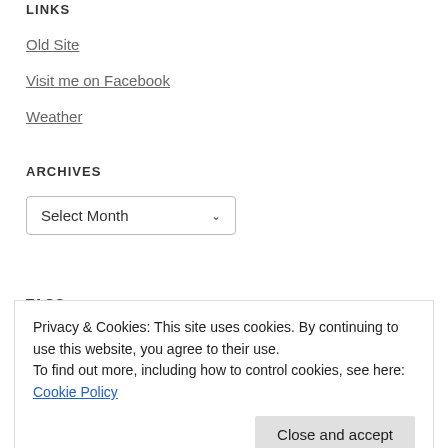LINKS
Old Site
Visit me on Facebook
Weather
ARCHIVES
Select Month
TAGS
Privacy & Cookies: This site uses cookies. By continuing to use this website, you agree to their use.
To find out more, including how to control cookies, see here: Cookie Policy
Close and accept
Haute Route Trekking Ice Climbing India